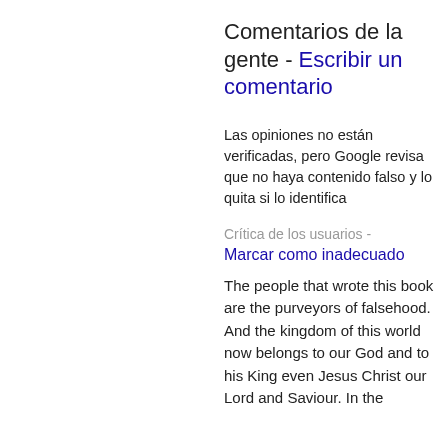Comentarios de la gente - Escribir un comentario
Las opiniones no están verificadas, pero Google revisa que no haya contenido falso y lo quita si lo identifica
Crítica de los usuarios - Marcar como inadecuado
The people that wrote this book are the purveyors of falsehood. And the kingdom of this world now belongs to our God and to his King even Jesus Christ our Lord and Saviour. In the